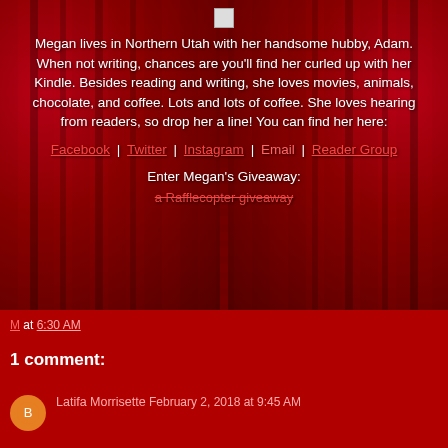[Figure (illustration): Small broken image placeholder icon at top center of red curtain background]
Megan lives in Northern Utah with her handsome hubby, Adam. When not writing, chances are you'll find her curled up with her Kindle. Besides reading and writing, she loves movies, animals, chocolate, and coffee. Lots and lots of coffee. She loves hearing from readers, so drop her a line! You can find her here:
Facebook | Twitter | Instagram | Email | Reader Group
Enter Megan's Giveaway:
a Rafflecopter giveaway
M at 6:30 AM
1 comment:
Latifa Morrisette February 2, 2018 at 9:45 AM